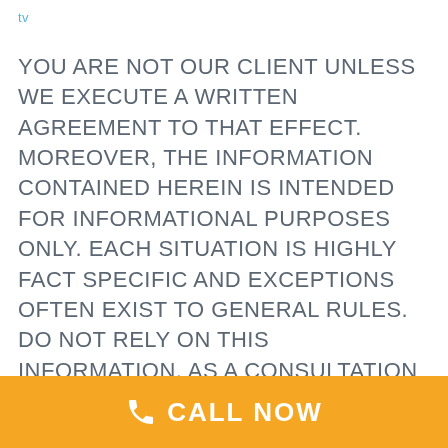tv
YOU ARE NOT OUR CLIENT UNLESS WE EXECUTE A WRITTEN AGREEMENT TO THAT EFFECT. MOREOVER, THE INFORMATION CONTAINED HEREIN IS INTENDED FOR INFORMATIONAL PURPOSES ONLY. EACH SITUATION IS HIGHLY FACT SPECIFIC AND EXCEPTIONS OFTEN EXIST TO GENERAL RULES. DO NOT RELY ON THIS INFORMATION, AS A CONSULTATION TO UNDERSTAND THE FACTS AND THE CLIENT'S NEEDS AND GOALS IS NECESSARY. ULTIMATELY WE MUST BE RETAINED TO
CALL NOW